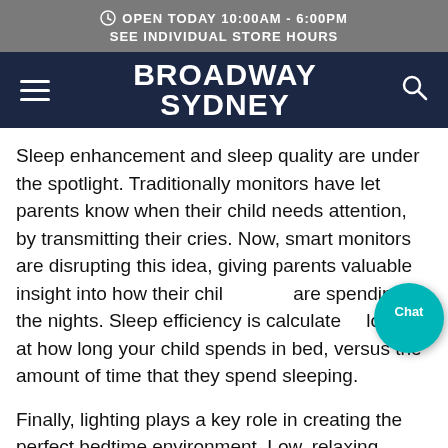OPEN TODAY 10:00AM - 6:00PM
SEE INDIVIDUAL STORE HOURS
[Figure (logo): Broadway Sydney logo on dark navy navigation bar with hamburger menu and search icon]
Sleep enhancement and sleep quality are under the spotlight. Traditionally monitors have let parents know when their child needs attention, by transmitting their cries. Now, smart monitors are disrupting this idea, giving parents valuable insight into how their child are spending the nights. Sleep efficiency is calculated by looking at how long your child spends in bed, versus the amount of time that they spend sleeping.
Finally, lighting plays a key role in creating the perfect bedtime environment. Low, relaxing lighting lets you set the scene, bathing the bedroom in soft tones. Younger children, or those who have nerves about the